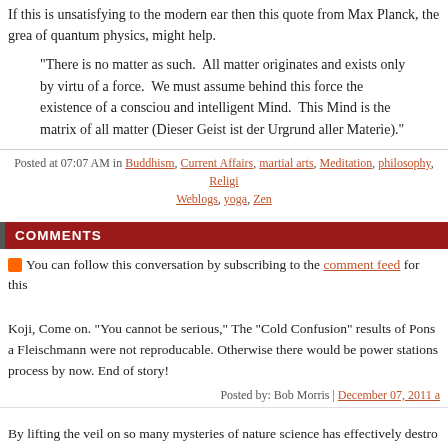If this is unsatisfying to the modern ear then this quote from Max Planck, the grea of quantum physics, might help.
“There is no matter as such.  All matter originates and exists only by virtu of a force.  We must assume behind this force the existence of a consciou and intelligent Mind.  This Mind is the matrix of all matter (Dieser Geist ist der Urgrund aller Materie).”
Posted at 07:07 AM in Buddhism, Current Affairs, martial arts, Meditation, philosophy, Religi Weblogs, yoga, Zen
COMMENTS
You can follow this conversation by subscribing to the comment feed for this
Koji, Come on. "You cannot be serious," The "Cold Confusion" results of Pons a Fleischmann were not reproducable. Otherwise there would be power stations process by now. End of story!
Posted by: Bob Morris | December 07, 2011 a
By lifting the veil on so many mysteries of nature science has effectively destro